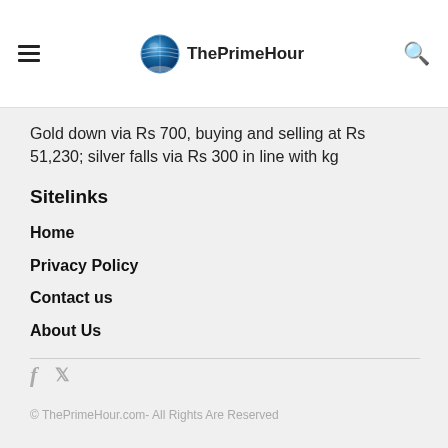ThePrimeHour
Gold down via Rs 700, buying and selling at Rs 51,230; silver falls via Rs 300 in line with kg
Sitelinks
Home
Privacy Policy
Contact us
About Us
© ThePrimeHour.com- All Rights Are Reserved